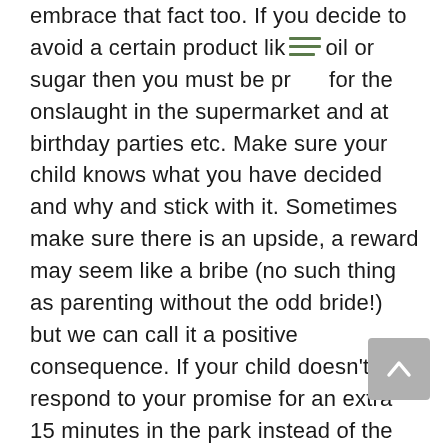embrace that fact too. If you decide to avoid a certain product like [menu icon] oil or sugar then you must be prepared for the onslaught in the supermarket and at birthday parties etc. Make sure your child knows what you have decided and why and stick with it. Sometimes make sure there is an upside, a reward may seem like a bribe (no such thing as parenting without the odd bride!) but we can call it a positive consequence. If your child doesn't respond to your promise for an extra 15 minutes in the park instead of the sweet/toy or whatever and decides to throw a tantrum in the store, keep calm, ensure she is safe and allow her to scream the place down, there is no such thing as shame when you are exhibiting good parenting and a screaming kid will